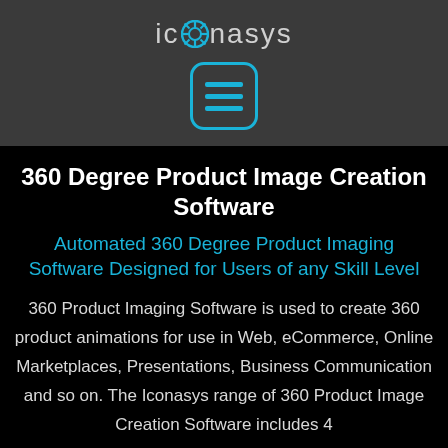[Figure (logo): Iconasys logo with camera aperture icon replacing the 'o', text in light gray on dark background, followed by a hamburger menu button with cyan border and lines]
360 Degree Product Image Creation Software
Automated 360 Degree Product Imaging Software Designed for Users of any Skill Level
360 Product Imaging Software is used to create 360 product animations for use in Web, eCommerce, Online Marketplaces, Presentations, Business Communication and so on. The Iconasys range of 360 Product Image Creation Software includes 4